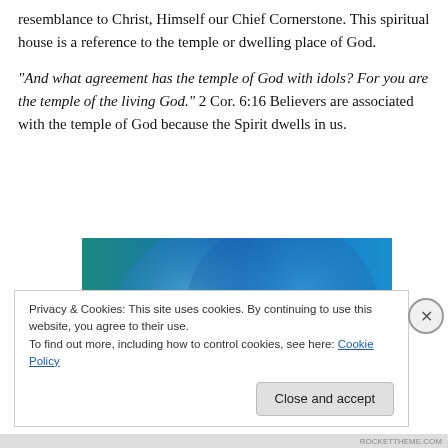resemblance to Christ, Himself our Chief Cornerstone. This spiritual house is a reference to the temple or dwelling place of God.
“And what agreement has the temple of God with idols? For you are the temple of the living God.” 2 Cor. 6:16 Believers are associated with the temple of God because the Spirit dwells in us.
[Figure (photo): A blue and teal abstract image showing overlapping circular or spherical shapes.]
Privacy & Cookies: This site uses cookies. By continuing to use this website, you agree to their use.
To find out more, including how to control cookies, see here: Cookie Policy
Close and accept
ROCKETTHEME.COM